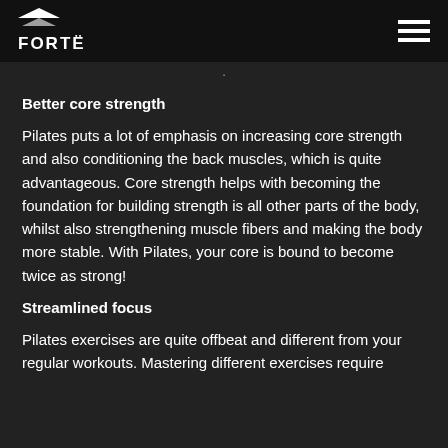FORTÉ
Better core strength
Pilates puts a lot of emphasis on increasing core strength and also conditioning the back muscles, which is quite advantageous. Core strength helps with becoming the foundation for building strength is all other parts of the body, whilst also strengthening muscle fibers and making the body more stable. With Pilates, your core is bound to become twice as strong!
Streamlined focus
Pilates exercises are quite offbeat and different from your regular workouts. Mastering different exercises require